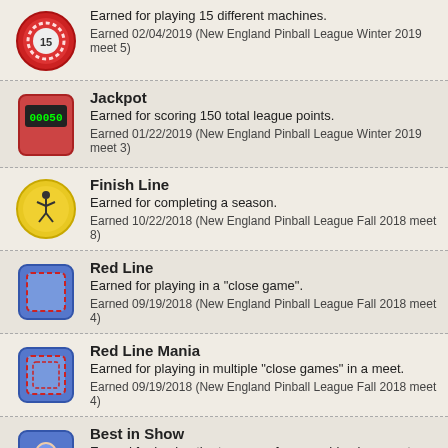Earned for playing 15 different machines.
Earned 02/04/2019 (New England Pinball League Winter 2019 meet 5)
Jackpot
Earned for scoring 150 total league points.
Earned 01/22/2019 (New England Pinball League Winter 2019 meet 3)
Finish Line
Earned for completing a season.
Earned 10/22/2018 (New England Pinball League Fall 2018 meet 8)
Red Line
Earned for playing in a "close game".
Earned 09/19/2018 (New England Pinball League Fall 2018 meet 4)
Red Line Mania
Earned for playing in multiple "close games" in a meet.
Earned 09/19/2018 (New England Pinball League Fall 2018 meet 4)
Best in Show
Earned for having the top score for a machine in a meet.
Earned 08/29/2018 (New England Pinball League Fall 2018 meet 1)